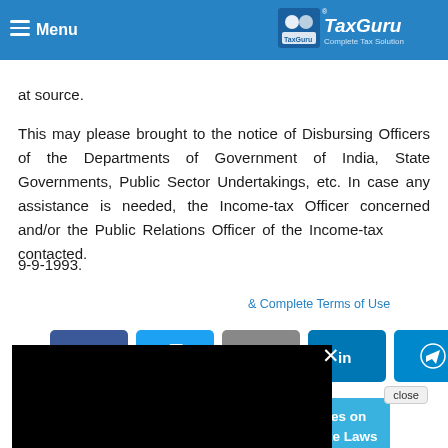Menu | TaxGuru - Complete Tax Solution
at source. This may please be brought to the notice of Disbursing Officers of the Departments of Government of India, State Governments, Public Sector Undertakings, etc. In case any assistance is needed, the Income-tax Officer concerned and/or the Public Relations Officer of the Income-tax may be contacted.
9-9-1993.
[Figure (screenshot): Black video player overlay with a loading spinner (white arc) and a white X close button in the top-right corner of the video box]
& Complete Terms of Use
[Figure (infographic): Row of social share buttons: Facebook (blue, f icon), Twitter (light blue, bird icon), Email (grey, envelope icon), LinkedIn (teal, in icon), Telegram (blue, paper plane icon), Share (green, share icon)]
Join Taxguru's Network for Latest updates on Income Tax, GST, Company Law, Corporate Laws
close